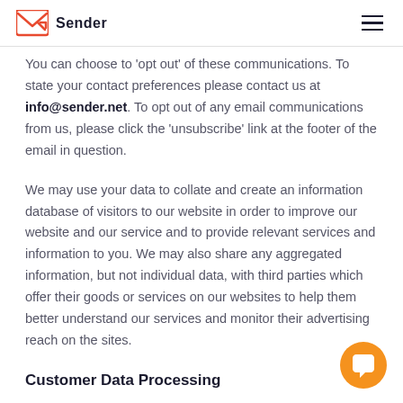Sender
You can choose to 'opt out' of these communications. To state your contact preferences please contact us at info@sender.net. To opt out of any email communications from us, please click the 'unsubscribe' link at the footer of the email in question.
We may use your data to collate and create an information database of visitors to our website in order to improve our website and our service and to provide relevant services and information to you. We may also share any aggregated information, but not individual data, with third parties which offer their goods or services on our websites to help them better understand our services and monitor their advertising reach on the sites.
Customer Data Processing
Sender collects personal information from Customers who visit